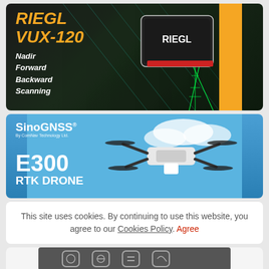[Figure (photo): RIEGL VUX-120 LiDAR scanner advertisement. Dark background with teal geometric lines and an orange vertical bar on right. Scanner device shown at angle. Text reads: RIEGL VUX-120, Nadir Forward Backward Scanning]
[Figure (photo): SinoGNSS E300 RTK Drone advertisement. Blue sky background with a multi-rotor drone with camera. SinoGNSS logo at top left, By ComNav Technology Ltd. Text reads: E300 RTK DRONE]
This site uses cookies. By continuing to use this website, you agree to our Cookies Policy. Agree
[Figure (photo): Partial bottom advertisement showing icons on a dark background, partially visible]